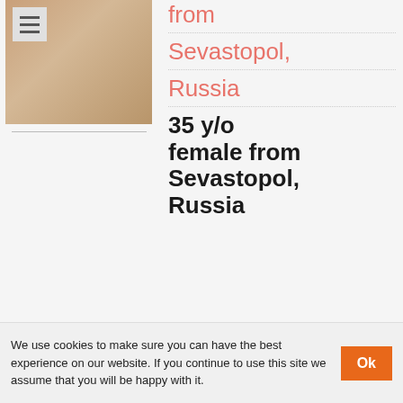[Figure (photo): Profile photo of a woman with red/blonde hair on a fur surface, with a hamburger menu icon overlay in the top left]
from Sevastopol, Russia
35 y/o female from Sevastopol, Russia
We use cookies to make sure you can have the best experience on our website. If you continue to use this site we assume that you will be happy with it. Ok